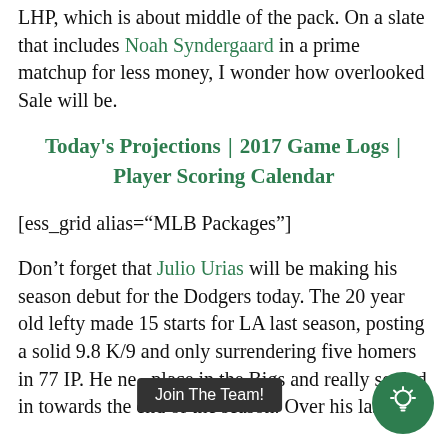LHP, which is about middle of the pack. On a slate that includes Noah Syndergaard in a prime matchup for less money, I wonder how overlooked Sale will be.
Today's Projections | 2017 Game Logs | Player Scoring Calendar
[ess_grid alias="MLB Packages"]
Don't forget that Julio Urias will be making his season debut for the Dodgers today. The 20 year old lefty made 15 starts for LA last season, posting a solid 9.8 K/9 and only surrendering five homers in 77 IP. He ne... place in the Bigs and really settled in towards the end of the season. Over his last 8